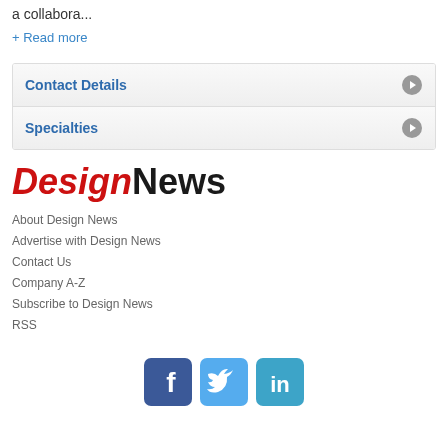a collabora...
+ Read more
Contact Details
Specialties
[Figure (logo): Design News logo with 'Design' in red italic and 'News' in black bold]
About Design News
Advertise with Design News
Contact Us
Company A-Z
Subscribe to Design News
RSS
[Figure (infographic): Social media icons: Facebook (blue), Twitter (light blue), LinkedIn (blue)]